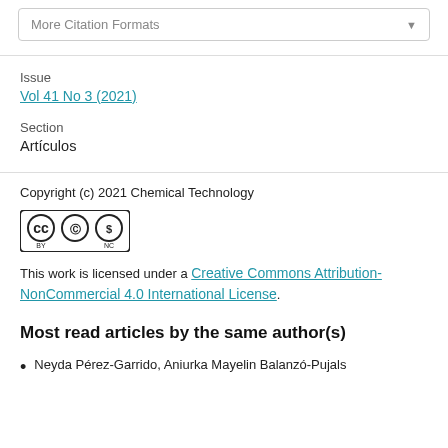More Citation Formats
Issue
Vol 41 No 3 (2021)
Section
Artículos
Copyright (c) 2021 Chemical Technology
[Figure (logo): Creative Commons BY-NC license badge with CC, BY, and NC icons in circles]
This work is licensed under a Creative Commons Attribution-NonCommercial 4.0 International License.
Most read articles by the same author(s)
Neyda Pérez-Garrido, Aniurka Mayelin Balanzó-Pujals